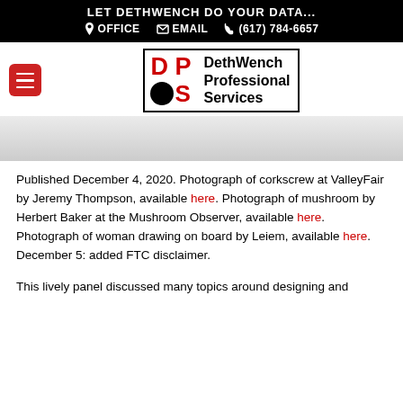LET DETHWENCH DO YOUR DATA... OFFICE EMAIL (617) 784-6657
[Figure (logo): DethWench Professional Services logo with red D, P, S letters, black circle O, and company name text in a bordered box]
[Figure (photo): Light gray banner/hero image area]
Published December 4, 2020. Photograph of corkscrew at ValleyFair by Jeremy Thompson, available here. Photograph of mushroom by Herbert Baker at the Mushroom Observer, available here. Photograph of woman drawing on board by Leiem, available here. December 5: added FTC disclaimer.
This lively panel discussed many topics around designing and